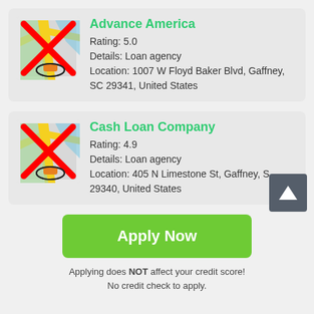[Figure (screenshot): Map icon with red X overlay and a location pin, for Advance America listing]
Advance America
Rating: 5.0
Details: Loan agency
Location: 1007 W Floyd Baker Blvd, Gaffney, SC 29341, United States
[Figure (screenshot): Map icon with red X overlay and a location pin, for Cash Loan Company listing]
Cash Loan Company
Rating: 4.9
Details: Loan agency
Location: 405 N Limestone St, Gaffney, S 29340, United States
Apply Now
Applying does NOT affect your credit score!
No credit check to apply.